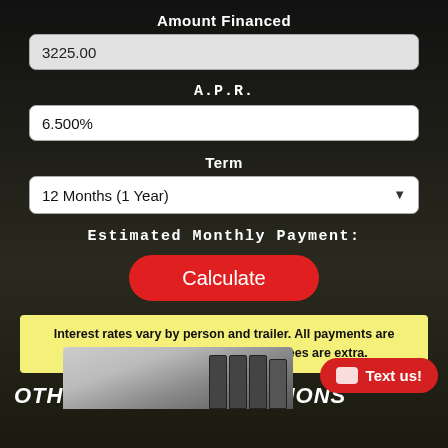Amount Financed
3225.00
A.P.R.
6.500%
Term
12 Months (1 Year)
Estimated Monthly Payment:
Calculate
Interest rates vary by person and trailer. All payments are estimates. Tax, title and any other fees are extra.
OTHER RECOMMENDATIONS
Text us!